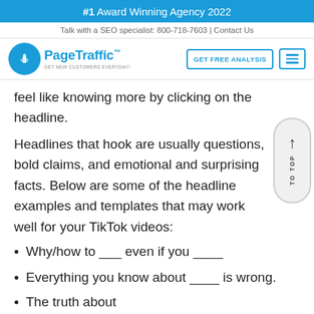#1 Award Winning Agency 2022
Talk with a SEO specialist: 800-718-7603 | Contact Us
[Figure (logo): PageTraffic logo with blue circle icon and tagline GET NEW CUSTOMERS EVERYDAY, followed by GET FREE ANALYSIS button and hamburger menu button]
feel like knowing more by clicking on the headline.
Headlines that hook are usually questions, bold claims, and emotional and surprising facts. Below are some of the headline examples and templates that may work well for your TikTok videos:
Why/how to ___ even if you ____
Everything you know about ____ is wrong.
The truth about